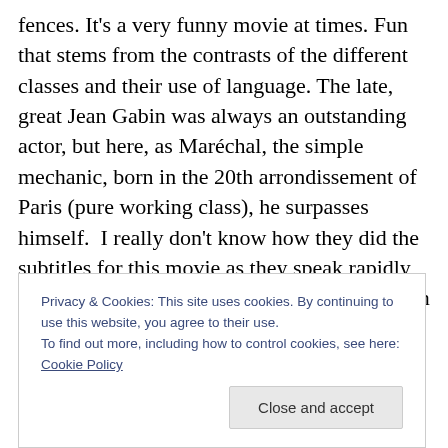fences. It's a very funny movie at times. Fun that stems from the contrasts of the different classes and their use of language. The late, great Jean Gabin was always an outstanding actor, but here, as Maréchal, the simple mechanic, born in the 20th arrondissement of Paris (pure working class), he surpasses himself.  I really don't know how they did the subtitles for this movie as they speak rapidly (I did watch the French version). Judging from the trailer, parts of the dialogues have been left out, nuances have been flattened. That is a pity. The use of dialogue and languages throughout the movie is a very realistic
Privacy & Cookies: This site uses cookies. By continuing to use this website, you agree to their use.
To find out more, including how to control cookies, see here: Cookie Policy